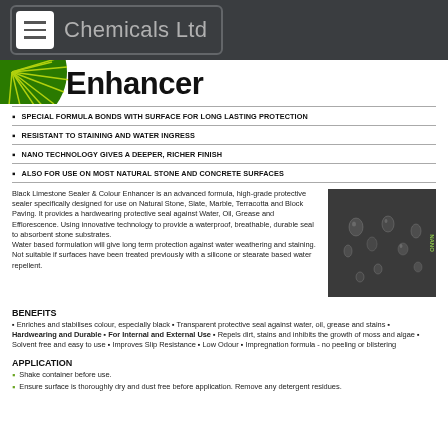≡ Chemicals Ltd
Enhancer
SPECIAL FORMULA BONDS WITH SURFACE FOR LONG LASTING PROTECTION
RESISTANT TO STAINING AND WATER INGRESS
NANO TECHNOLOGY GIVES A DEEPER, RICHER FINISH
ALSO FOR USE ON MOST NATURAL STONE AND CONCRETE SURFACES
Black Limestone Sealer & Colour Enhancer is an advanced formula, high-grade protective sealer specifically designed for use on Natural Stone, Slate, Marble, Terracotta and Block Paving. It provides a hardwearing protective seal against Water, Oil, Grease and Efflorescence. Using innovative technology to provide a waterproof, breathable, durable seal to absorbent stone substrates. Water based formulation will give long term protection against water weathering and staining. Not suitable if surfaces have been treated previously with a silicone or stearate based water repellent.
BENEFITS
▪ Enriches and stabilises colour, especially black ▪ Transparent protective seal against water, oil, grease and stains ▪ Hardwearing and Durable ▪ For Internal and External Use ▪ Repels dirt, stains and inhibits the growth of moss and algae ▪ Solvent free and easy to use ▪ Improves Slip Resistance ▪ Low Odour ▪ Impregnation formula - no peeling or blistering
APPLICATION
Shake container before use.
Ensure surface is thoroughly dry and dust free before application. Remove any detergent residues.